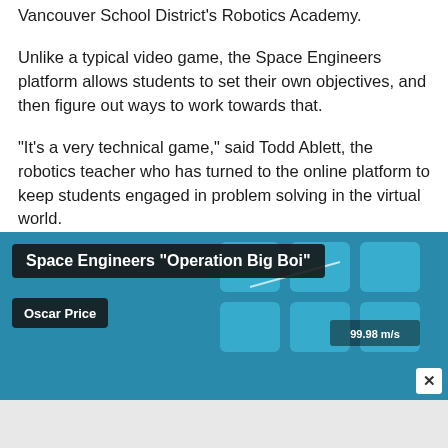Vancouver School District's Robotics Academy.
Unlike a typical video game, the Space Engineers platform allows students to set their own objectives, and then figure out ways to work towards that.
“It’s a very technical game,” said Todd Ablett, the robotics teacher who has turned to the online platform to keep students engaged in problem solving in the virtual world.
“There are a lot of variables you have to manage.”
[Figure (screenshot): Screenshot of a Space Engineers video titled 'Operation Big Boi' by Oscar Price, showing keyboard keys in blue tones with a close (x) button in the bottom right corner.]